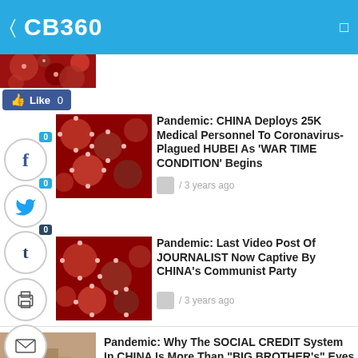CB360
[Figure (screenshot): Partial thumbnail image of coronavirus/red virus particles at top]
Like 0
0 (Facebook share count)
0 (Twitter share count)
0 (Tumblr share count)
0
Shares
[Figure (photo): Thumbnail photo of red coronavirus particles]
Pandemic: CHINA Deploys 25K Medical Personnel To Coronavirus- Plagued HUBEI As ‘WAR TIME CONDITION’ Begins
/ 3 years ago
[Figure (photo): Thumbnail photo of red coronavirus particles]
Pandemic: Last Video Post Of JOURNALIST Now Captive By CHINA’s Communist Party
/ 3 years ago
[Figure (photo): Partial thumbnail photo at bottom]
Pandemic: Why The SOCIAL CREDIT System In CHINA Is More Than “BIG BROTHER’s” Eyes